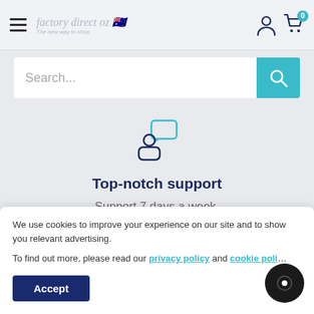factory direct oz — The new way to shop
Search...
[Figure (illustration): Person with speech bubble icon representing customer support]
Top-notch support
Support 7 days a week.
[Figure (illustration): Bed/furniture icon partially visible at bottom]
We use cookies to improve your experience on our site and to show you relevant advertising.
To find out more, please read our privacy policy and cookie policy
Accept